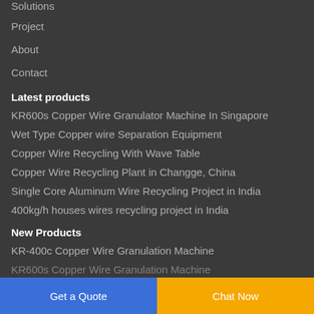Solutions
Project
About
Contact
Latest products
KR600s Copper Wire Granulator Machine In Singapore
Wet Type Copper wire Separation Equipment
Copper Wire Recycling With Wave Table
Copper Wire Recycling Plant in Changge, China
Single Core Aluminum Wire Recycling Project in India
400kg/h houses wires recycling project in India
New Products
KR-400c Copper Wire Granulation Machine
KR600s Copper Wire Granulation Machine
Get a Quote
Chat Now